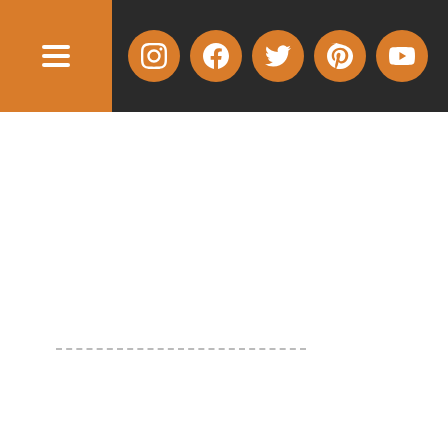[Figure (screenshot): Website navigation bar with hamburger menu button on orange background and social media icons (Instagram, Facebook, Twitter, Pinterest, YouTube) on dark background]
[Figure (screenshot): YouTube video thumbnail showing 'The Boekell Ad...' with Montani Films logo and play button]